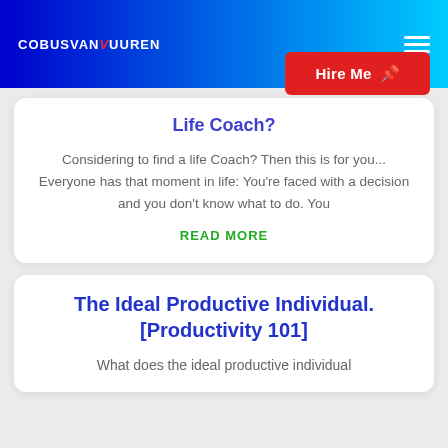COBUSVANVUUREN
Life Coach?
Considering to find a life Coach? Then this is for you... Everyone has that moment in life: You're faced with a decision and you don't know what to do. You
READ MORE
The Ideal Productive Individual. [Productivity 101]
What does the ideal productive individual